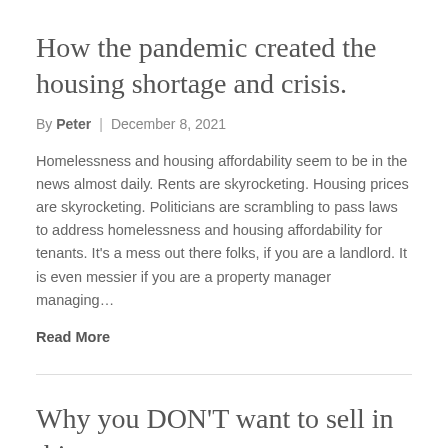How the pandemic created the housing shortage and crisis.
By Peter  |  December 8, 2021
Homelessness and housing affordability seem to be in the news almost daily. Rents are skyrocketing. Housing prices are skyrocketing. Politicians are scrambling to pass laws to address homelessness and housing affordability for tenants. It's a mess out there folks, if you are a landlord. It is even messier if you are a property manager managing…
Read More
Why you DON'T want to sell in this